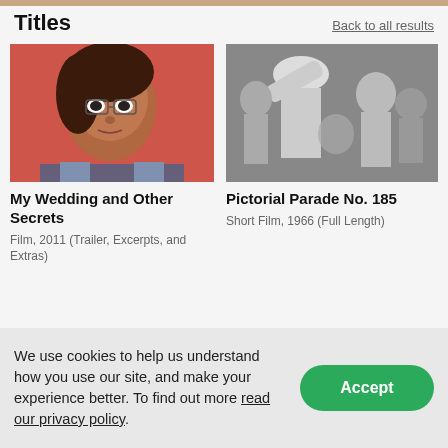Titles
Back to all results
[Figure (photo): Close-up portrait of a woman with glasses against a red/orange background]
My Wedding and Other Secrets
Film, 2011 (Trailer, Excerpts, and Extras)
[Figure (photo): Black and white photo of crowd, a person in a white hat prominent]
Pictorial Parade No. 185
Short Film, 1966 (Full Length)
[Figure (photo): Color still with a person's hands visible, clock watch-later icon in corner]
[Figure (photo): Black and white photo with ARTIST badge, two people, clock icon in corner]
We use cookies to help us understand how you use our site, and make your experience better. To find out more read our privacy policy.